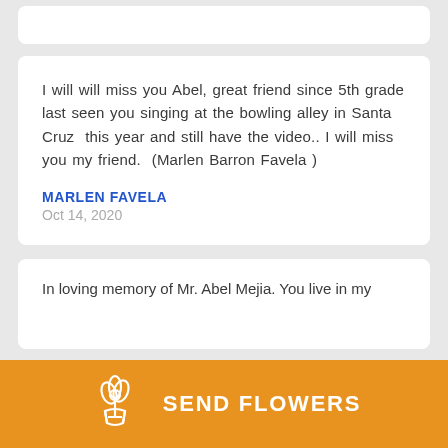I will will miss you Abel, great friend since 5th grade last seen you singing at the bowling alley in Santa Cruz  this year and still have the video.. I will miss you my friend.  (Marlen Barron Favela )
MARLEN FAVELA
Oct 14, 2020
In loving memory of Mr. Abel Mejia. You live in my
SEND FLOWERS